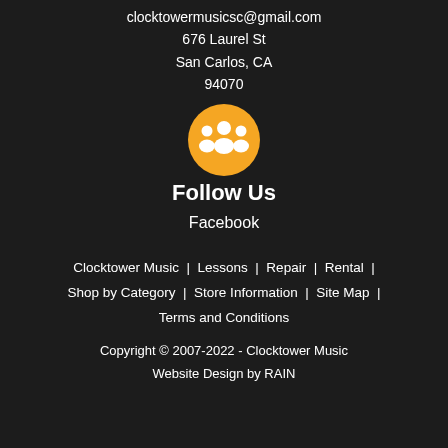clocktowermusicsc@gmail.com
676 Laurel St
San Carlos, CA
94070
[Figure (illustration): Orange circle icon with white group of people silhouette (social/follow icon)]
Follow Us
Facebook
Clocktower Music  |  Lessons  |  Repair  |  Rental  |  Shop by Category  |  Store Information  |  Site Map  |  Terms and Conditions
Copyright © 2007-2022 - Clocktower Music
Website Design by RAIN